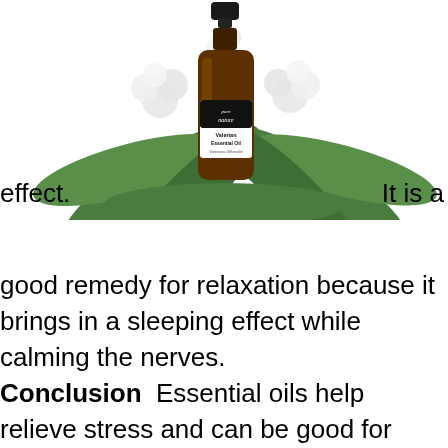[Figure (photo): A bottle of Pure Nature Valerian Essential Oil (Valeriana Officinalis) surrounded by valerian plant with white flowers and green leaves.]
effect.
It is a
good remedy for relaxation because it brings in a sleeping effect while calming the nerves. Conclusion  Essential oils help relieve stress and can be good for calming you in times of anxiety. During such moments, the essential oil can be around the temple. This can allow you to relieve